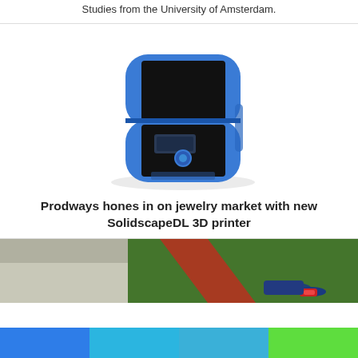Studies from the University of Amsterdam.
[Figure (photo): Blue cylindrical 3D printer (SolidscapeDL) with black front panel display]
Prodways hones in on jewelry market with new SolidscapeDL 3D printer
[Figure (photo): Outdoor scene with grass, pavement, red stripe, and a person lying on the ground in colorful shoes]